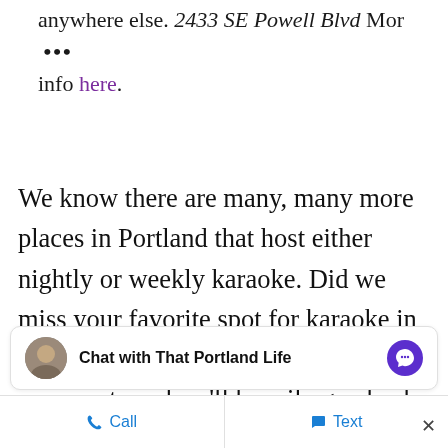anywhere else. 2433 SE Powell Blvd Mor … info here.
We know there are many, many more places in Portland that host either nightly or weekly karaoke. Did we miss your favorite spot for karaoke in Portland? Let us know in the comments and we'll happily go check it out!
Chat with That Portland Life
Call   Text